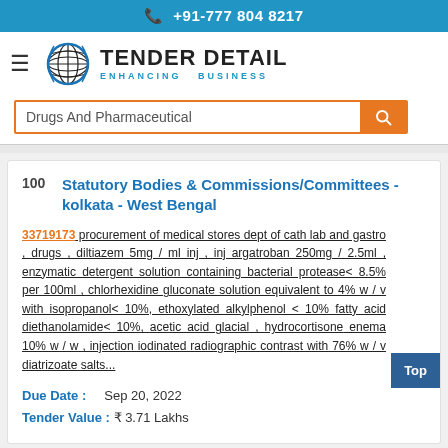+91-777 804 8217
[Figure (logo): Tender Detail logo with globe icon and tagline ENHANCING BUSINESS]
Drugs And Pharmaceutical
100  Statutory Bodies & Commissions/Committees - kolkata - West Bengal
33719173 procurement of medical stores dept of cath lab and gastro , drugs , diltiazem 5mg / ml inj , inj argatroban 250mg / 2.5ml , enzymatic detergent solution containing bacterial protease< 8.5% per 100ml , chlorhexidine gluconate solution equivalent to 4% w / v with isopropanol< 10%, ethoxylated alkylphenol < 10% fatty acid diethanolamide< 10%, acetic acid glacial , hydrocortisone enema 10% w / w , injection iodinated radiographic contrast with 76% w / v diatrizoate salts...
Due Date :    Sep 20, 2022
Tender Value : ₹ 3.71 Lakhs